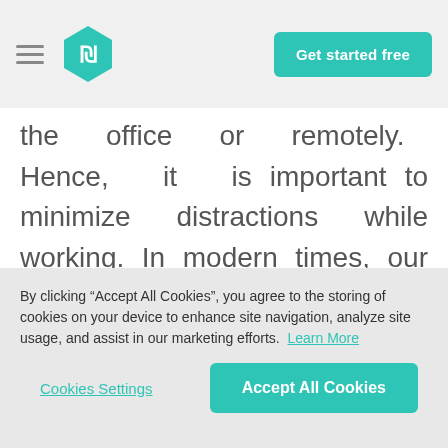[Figure (logo): Teal hexagon logo with white NIS symbol (₪) inside]
Get started free
the office or remotely. Hence, it is important to minimize distractions while working. In modern times, our phones are the biggest distractions. Make sure that you put your phones away while completing a crucial task. While working from home, take the necessary steps to avoid distractions. Make sure that you
By clicking “Accept All Cookies”, you agree to the storing of cookies on your device to enhance site navigation, analyze site usage, and assist in our marketing efforts.  Learn More
Cookies Settings
Accept All Cookies